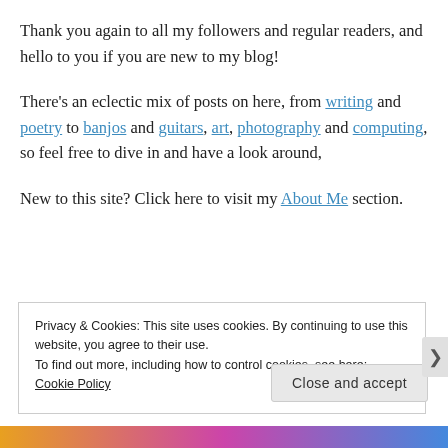Thank you again to all my followers and regular readers, and hello to you if you are new to my blog!
There’s an eclectic mix of posts on here, from writing and poetry to banjos and guitars, art, photography and computing, so feel free to dive in and have a look around,
New to this site? Click here to visit my About Me section.
Privacy & Cookies: This site uses cookies. By continuing to use this website, you agree to their use.
To find out more, including how to control cookies, see here:
Cookie Policy
Close and accept